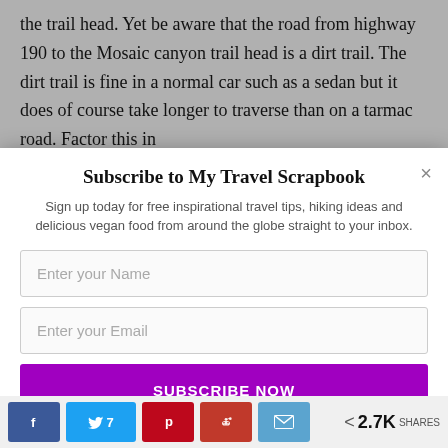the trail head. Yet be aware that the road from highway 190 to the Mosaic canyon trail head is a dirt trail. The dirt trail is fine in a normal car such as a sedan but it does of course take longer to traverse than on a tarmac road. Factor this in
[Figure (screenshot): Email subscription modal popup with title 'Subscribe to My Travel Scrapbook', subtitle text, name and email input fields, and a purple SUBSCRIBE NOW button]
[Figure (photo): Partial photo of a desert/canyon landscape visible below the modal]
[Figure (infographic): Social share bar at bottom with Facebook, Twitter (7 shares), Pinterest, Reddit, and Email buttons, showing 2.7K total shares]